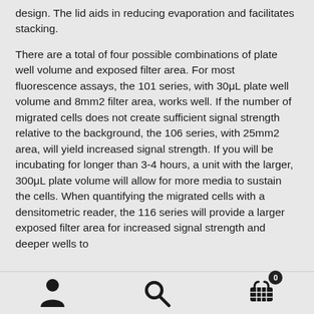design. The lid aids in reducing evaporation and facilitates stacking.
There are a total of four possible combinations of plate well volume and exposed filter area. For most fluorescence assays, the 101 series, with 30μL plate well volume and 8mm2 filter area, works well. If the number of migrated cells does not create sufficient signal strength relative to the background, the 106 series, with 25mm2 area, will yield increased signal strength. If you will be incubating for longer than 3-4 hours, a unit with the larger, 300μL plate volume will allow for more media to sustain the cells. When quantifying the migrated cells with a densitometric reader, the 116 series will provide a larger exposed filter area for increased signal strength and deeper wells to
[person icon] [search icon] [cart icon with badge 0]